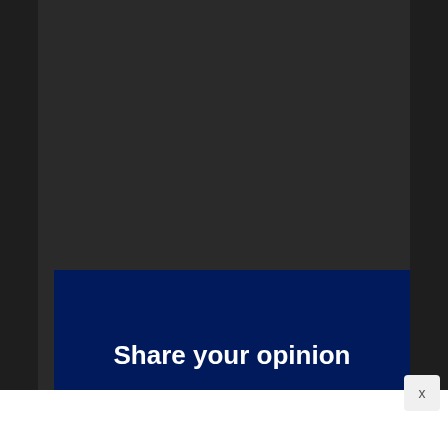[Figure (screenshot): Dark background UI with a dark navy blue button/box overlay containing bold white text 'Share your opinion', and a small close button (X) in the lower right corner.]
Share your opinion